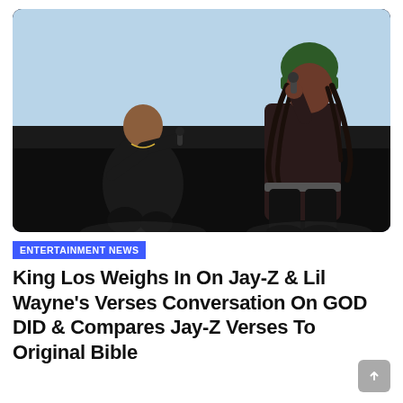[Figure (photo): Two male performers on a dark stage. The man on the left wearing a dark outfit holds a microphone and appears to be rapping. The man on the right wearing a green beanie/hat and dark clothing is also performing into a microphone with an energetic pose. A light blue/white backdrop is visible behind them.]
ENTERTAINMENT NEWS
King Los Weighs In On Jay-Z & Lil Wayne's Verses Conversation On GOD DID & Compares Jay-Z Verses To Original Bible